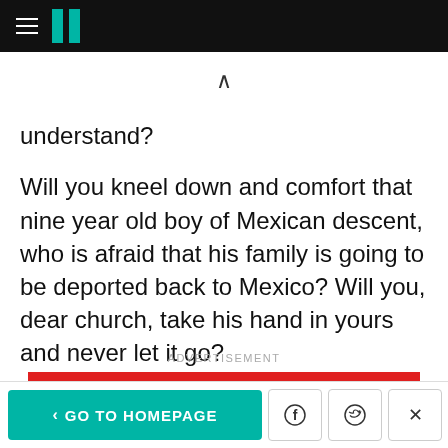HuffPost (hamburger menu + logo)
understand?
Will you kneel down and comfort that nine year old boy of Mexican descent, who is afraid that his family is going to be deported back to Mexico? Will you, dear church, take his hand in yours and never let it go?
ADVERTISEMENT
< GO TO HOMEPAGE | Facebook | Twitter | X